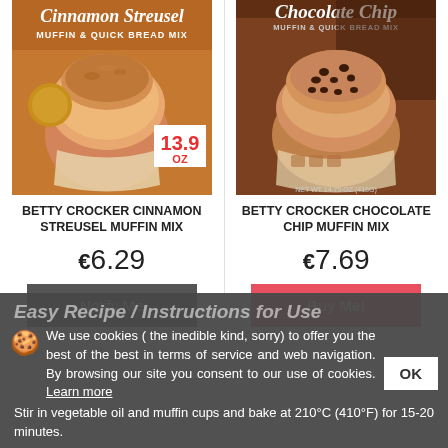[Figure (photo): Betty Crocker Cinnamon Streusel Muffin & Quick Bread Mix box with 13.9 oz label]
BETTY CROCKER CINNAMON STREUSEL MUFFIN MIX
€6.29
Notify Me
[Figure (photo): Betty Crocker Chocolate Chip Muffin & Quick Bread Mix box]
BETTY CROCKER CHOCOLATE CHIP MUFFIN MIX
€7.69
Buy Me!
Easy Recipe / Instructions for Use
We use cookies ( the inedible kind, sorry) to offer you the best of the best in terms of service and web navigation. By browsing our site you consent to our use of cookies. Learn more
Stir in vegetable oil and muffin cups and bake at 210°C (410°F) for 15-20 minutes.